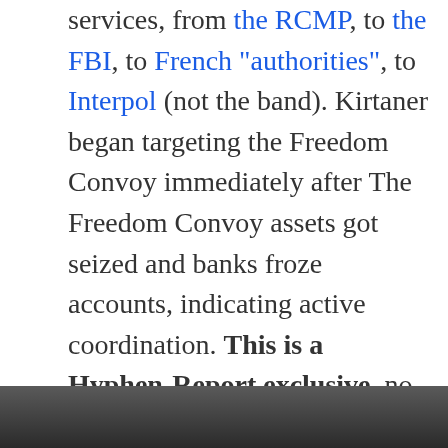services, from the RCMP, to the FBI, to French “authorities”, to Interpol (not the band). Kirtaner began targeting the Freedom Convoy immediately after The Freedom Convoy assets got seized and banks froze accounts, indicating active coordination. This is a Hyphen-Report exclusive, no outlet has dared to touch the “third rail” of a Western intelligentsia’s attempts to smother this burgeoning movement.
[Figure (photo): Partial image of a person visible at the bottom of the page, cropped strip]